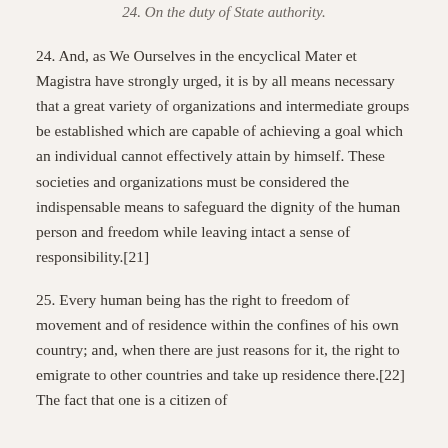24. On the duty of State authority.
24. And, as We Ourselves in the encyclical Mater et Magistra have strongly urged, it is by all means necessary that a great variety of organizations and intermediate groups be established which are capable of achieving a goal which an individual cannot effectively attain by himself. These societies and organizations must be considered the indispensable means to safeguard the dignity of the human person and freedom while leaving intact a sense of responsibility.[21]
25. Every human being has the right to freedom of movement and of residence within the confines of his own country; and, when there are just reasons for it, the right to emigrate to other countries and take up residence there.[22] The fact that one is a citizen of